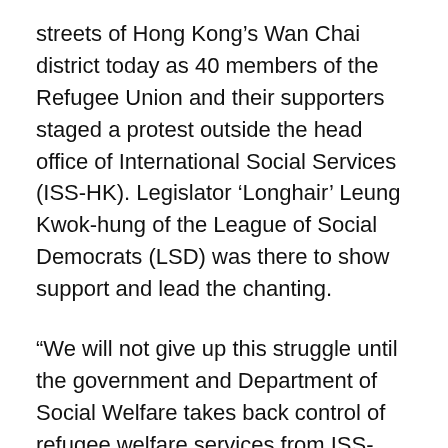streets of Hong Kong's Wan Chai district today as 40 members of the Refugee Union and their supporters staged a protest outside the head office of International Social Services (ISS-HK). Legislator ‘Longhair’ Leung Kwok-hung of the League of Social Democrats (LSD) was there to show support and lead the chanting.
“We will not give up this struggle until the government and Department of Social Welfare takes back control of refugee welfare services from ISS-HK,” said Refugee Union spokesperson Raymond.